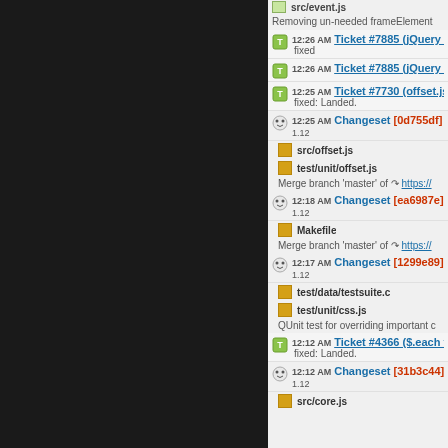[Figure (screenshot): Dark left panel of a web application sidebar]
src/event.js
Removing un-needed frameElement
12:26 AM Ticket #7885 (jQuery .offs... fixed
12:26 AM Ticket #7885 (jQuery .offs...
12:25 AM Ticket #7730 (offset.js: set... fixed: Landed.
12:25 AM Changeset [0d755df] 1.12 - src/offset.js, test/unit/offset.js - Merge branch 'master' of https://...
12:18 AM Changeset [ea6987e] 1.12 - Makefile - Merge branch 'master' of https://...
12:17 AM Changeset [1299e89] 1.12 - test/data/testsuite.c... test/unit/css.js - QUnit test for overriding important c...
12:12 AM Ticket #4366 ($.each fails... fixed: Landed.
12:12 AM Changeset [31b3c44] 1.12 - src/core.js